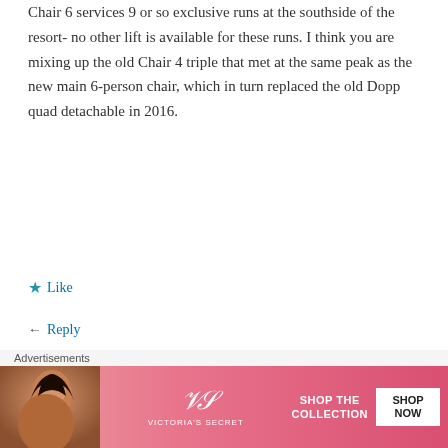Chair 6 services 9 or so exclusive runs at the southside of the resort- no other lift is available for these runs. I think you are mixing up the old Chair 4 triple that met at the same peak as the new main 6-person chair, which in turn replaced the old Dopp quad detachable in 2016.
Like
Reply
PATRICK
January 22, 2020 / 2:11 pm
[Figure (illustration): Victoria's Secret advertisement banner with a model, VS logo, 'SHOP THE COLLECTION' text and 'SHOP NOW' button]
Advertisements